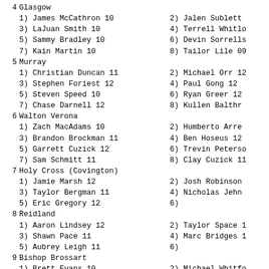4  Glasgow
1) James McCathron 10   2) Jalen Sublett
3) LaJuan Smith 10      4) Terrell Whitlo
5) Sammy Bradley 10     6) Devin Sorrells
7) Kain Martin 10       8) Tailor Lile 09
5  Murray
1) Christian Duncan 11  2) Michael Orr 12
3) Stephen Foriest 12   4) Paul Gong 12
5) Steven Speed 10      6) Ryan Greer 12
7) Chase Darnell 12     8) Kullen Balthr
6  Walton Verona
1) Zach MacAdams 10     2) Humberto Arre
3) Brandon Brockman 11  4) Ben Hoseus 12
5) Garrett Cuzick 12    6) Trevin Peterso
7) Sam Schmitt 11       8) Clay Cuzick 11
7  Holy Cross (Covington)
1) Jamie Marsh 12       2) Josh Robinson
3) Taylor Bergman 11    4) Nicholas Jehn
5) Eric Gregory 12      6)
8  Reidland
1) Aaron Lindsey 12     2) Taylor Space
3) Shawn Pace 11        4) Marc Bridges
5) Aubrey Leigh 11      6)
9  Bishop Brossart
1) Brett Evans 10       2) Michael Whitfo
3) Zach Holtkamp 11     4) Clay Elam 11
5) Alex Schwartz 09     6) Jack Foster 11
7) Robby Martin 10      8) Abraham Buech
10 Newport Central Catholic
1) Cole Little 12       2) Michael Froend
3) Nolan Johnson 12     4) Danauy Dant